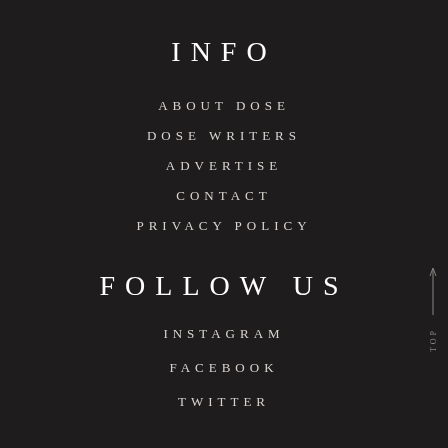INFO
ABOUT DOSE
DOSE WRITERS
ADVERTISE
CONTACT
PRIVACY POLICY
FOLLOW US
INSTAGRAM
FACEBOOK
TWITTER